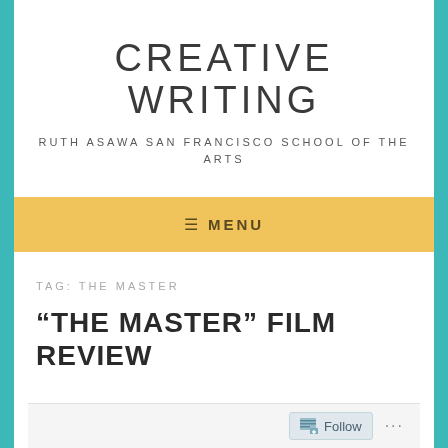CREATIVE WRITING
RUTH ASAWA SAN FRANCISCO SCHOOL OF THE ARTS
≡  MENU
TAG: THE MASTER
“THE MASTER” FILM REVIEW
Follow ...